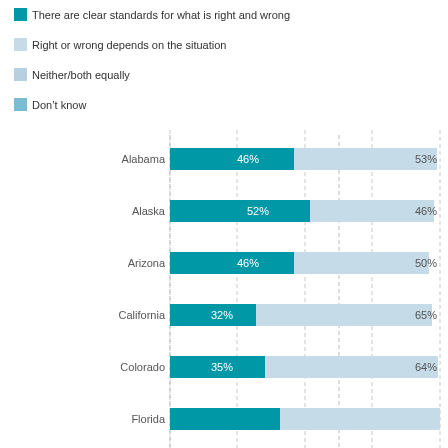[Figure (stacked-bar-chart): Right/Wrong Standards by State]